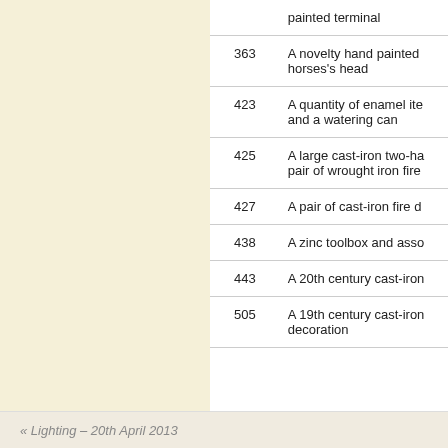| Lot | Description |
| --- | --- |
|  | painted terminal |
| 363 | A novelty hand painted horses's head |
| 423 | A quantity of enamel ite and a watering can |
| 425 | A large cast-iron two-ha pair of wrought iron fire |
| 427 | A pair of cast-iron fire d |
| 438 | A zinc toolbox and asso |
| 443 | A 20th century cast-iron |
| 505 | A 19th century cast-iron decoration |
« Lighting – 20th April 2013